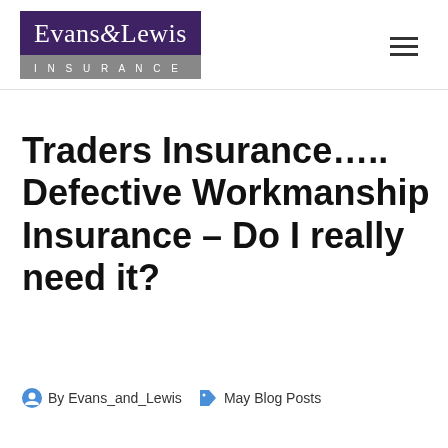Evans & Lewis Insurance
Traders Insurance….. Defective Workmanship Insurance – Do I really need it?
By Evans_and_Lewis   May Blog Posts